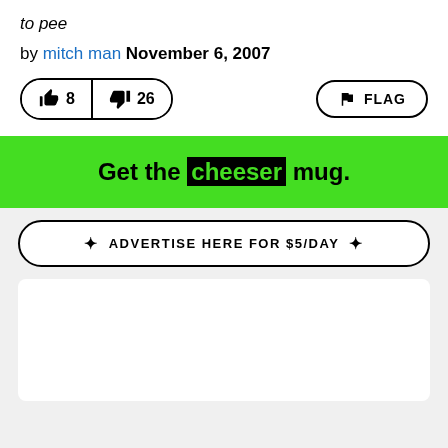to pee
by mitch man November 6, 2007
[Figure (other): Thumbs up button with count 8, thumbs down button with count 26, and FLAG button]
Get the cheeser mug.
ADVERTISE HERE FOR $5/DAY